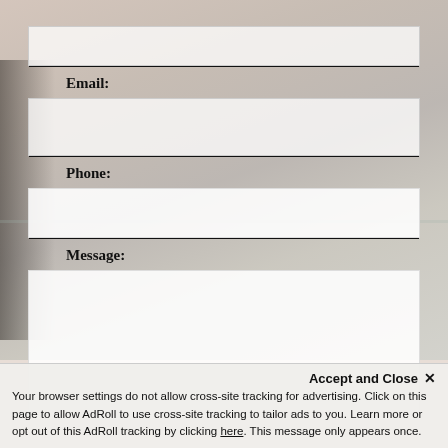[Figure (photo): Background photo of a coastal/beach scene with palm trees and ocean, muted and faded with warm tones overlaid by a semi-transparent white form area]
Email:
Phone:
Message:
Accept and Close ✕
Your browser settings do not allow cross-site tracking for advertising. Click on this page to allow AdRoll to use cross-site tracking to tailor ads to you. Learn more or opt out of this AdRoll tracking by clicking here. This message only appears once.